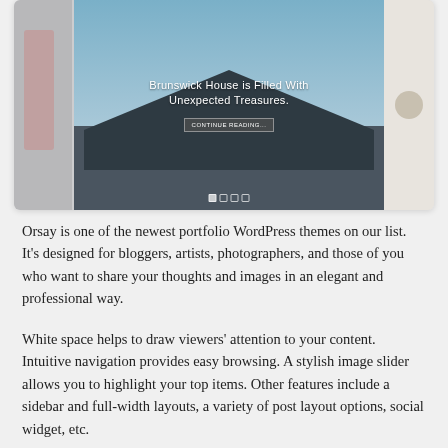[Figure (screenshot): Screenshot of the Orsay WordPress portfolio theme showing an image slider with a dark house/building photo in the center, text overlay reading 'Brunswick House is Filled With Unexpected Treasures', a button, and flanking images on left and right sides.]
Orsay is one of the newest portfolio WordPress themes on our list. It's designed for bloggers, artists, photographers, and those of you who want to share your thoughts and images in an elegant and professional way.
White space helps to draw viewers' attention to your content. Intuitive navigation provides easy browsing. A stylish image slider allows you to highlight your top items. Other features include a sidebar and full-width layouts, a variety of post layout options, social widget, etc.